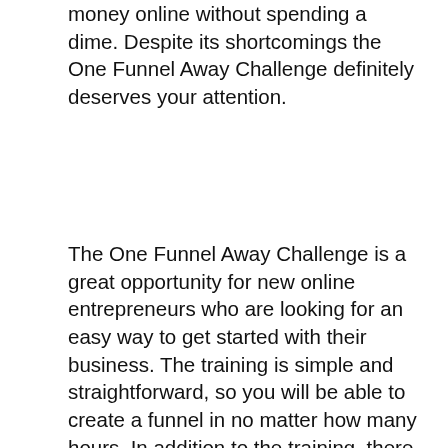money online without spending a dime. Despite its shortcomings the One Funnel Away Challenge definitely deserves your attention.
The One Funnel Away Challenge is a great opportunity for new online entrepreneurs who are looking for an easy way to get started with their business. The training is simple and straightforward, so you will be able to create a funnel in no matter how many hours. In addition to the training, there is a One Funnel Away Challenge group with over 200,000 entrepreneurs. They also offer a live weekly Q&A session that will answer all your questions.
The One Funnel Away Challenge provides